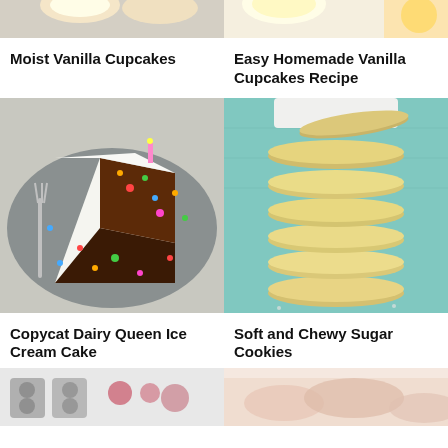[Figure (photo): Partial top of Moist Vanilla Cupcakes photo, cropped at top]
[Figure (photo): Partial top of Easy Homemade Vanilla Cupcakes Recipe photo, cropped at top]
Moist Vanilla Cupcakes
Easy Homemade Vanilla Cupcakes Recipe
[Figure (photo): Slice of Copycat Dairy Queen Ice Cream Cake on a gray plate with colorful sprinkles and a fork]
[Figure (photo): Stack of Soft and Chewy Sugar Cookies on blue fabric background]
Copycat Dairy Queen Ice Cream Cake
Soft and Chewy Sugar Cookies
[Figure (photo): Partial bottom photo, left side — appears to show baking tools or molds]
[Figure (photo): Partial bottom photo, right side — pinkish baked goods]